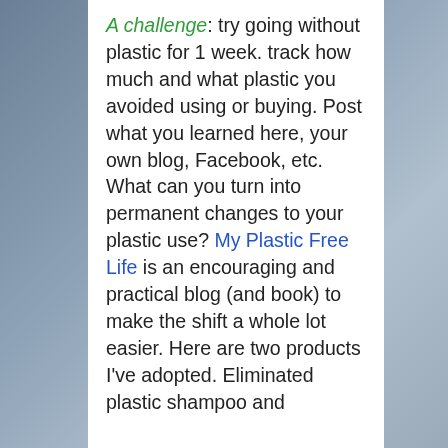A challenge: try going without plastic for 1 week. track how much and what plastic you avoided using or buying. Post what you learned here, your own blog, Facebook, etc. What can you turn into permanent changes to your plastic use? My Plastic Free Life is an encouraging and practical blog (and book) to make the shift a whole lot easier. Here are two products I've adopted. Eliminated plastic shampoo and